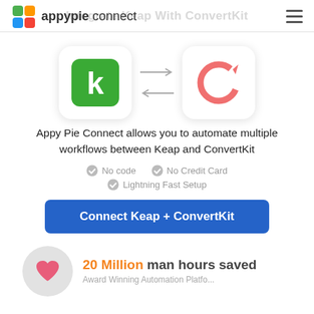appypie connect
Integrate Keap With ConvertKit
[Figure (illustration): Two app icons with bidirectional arrows between them. Left icon: Keap (green square with white 'k'). Right icon: ConvertKit (white square with coral/red circular refresh icon).]
Appy Pie Connect allows you to automate multiple workflows between Keap and ConvertKit
No code
No Credit Card
Lightning Fast Setup
Connect Keap + ConvertKit
20 Million man hours saved
Award Winning Automation Platform